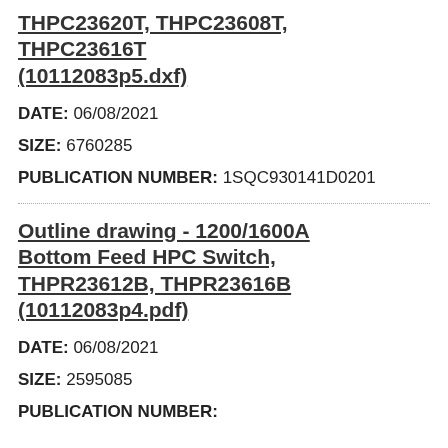THPC23620T, THPC23608T, THPC23616T (10112083p5.dxf)
DATE: 06/08/2021
SIZE: 6760285
PUBLICATION NUMBER: 1SQC930141D0201
Outline drawing - 1200/1600A Bottom Feed HPC Switch, THPR23612B, THPR23616B (10112083p4.pdf)
DATE: 06/08/2021
SIZE: 2595085
PUBLICATION NUMBER: